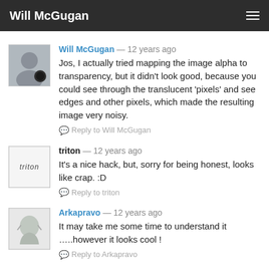Will McGugan
Will McGugan — 12 years ago
Jos, I actually tried mapping the image alpha to transparency, but it didn't look good, because you could see through the translucent 'pixels' and see edges and other pixels, which made the resulting image very noisy.
Reply to Will McGugan
triton — 12 years ago
It's a nice hack, but, sorry for being honest, looks like crap. :D
Reply to triton
Arkapravo — 12 years ago
It may take me some time to understand it …..however it looks cool !
Reply to Arkapravo
kl — 12 years ago